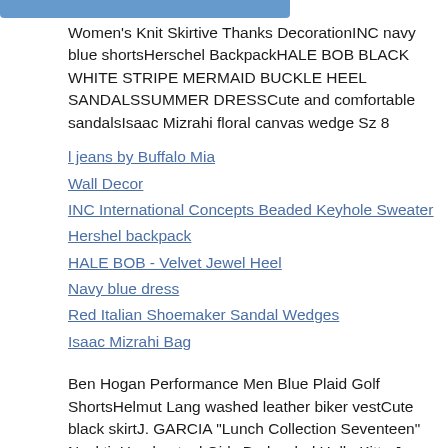[Figure (other): Blue/teal horizontal bar at top left]
Women's Knit Skirtive Thanks DecorationINC navy blue shortsHerschel BackpackHALE BOB BLACK WHITE STRIPE MERMAID BUCKLE HEEL SANDALSSUMMER DRESSCute and comfortable sandalsIsaac Mizrahi floral canvas wedge Sz 8
l jeans by Buffalo Mia
Wall Decor
INC International Concepts Beaded Keyhole Sweater
Hershel backpack
HALE BOB - Velvet Jewel Heel
Navy blue dress
Red Italian Shoemaker Sandal Wedges
Isaac Mizrahi Bag
Ben Hogan Performance Men Blue Plaid Golf ShortsHelmut Lang washed leather biker vestCute black skirtJ. GARCIA "Lunch Collection Seventeen" NecktieHayden tankGirls Bedazzled Hello Kitty Jean JacketHollister knit hatVintage Impressions Ladies Blouse